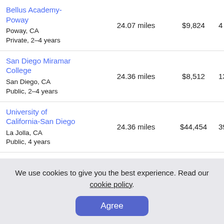| School | Distance | Cost |  |
| --- | --- | --- | --- |
| Bellus Academy-Poway
Poway, CA
Private, 2-4 years | 24.07 miles | $9,824 | 4 |
| San Diego Miramar College
San Diego, CA
Public, 2-4 years | 24.36 miles | $8,512 | 13 |
| University of California-San Diego
La Jolla, CA
Public, 4 years | 24.36 miles | $44,454 | 39 |
| Design Institute of San Diego
San Diego, CA
Private, 4 years | 25.14 miles | $25,613 | 1 |
We use cookies to give you the best experience. Read our cookie policy.